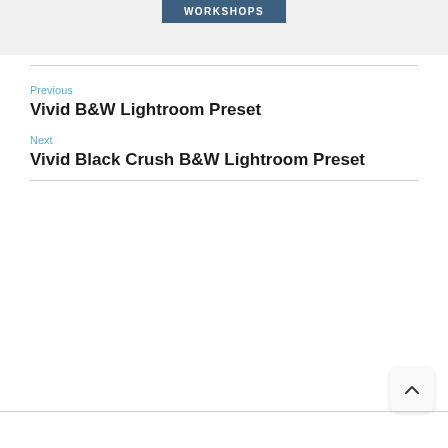[Figure (other): WORKSHOPS button on grey banner background]
Previous
Vivid B&W Lightroom Preset
Next
Vivid Black Crush B&W Lightroom Preset